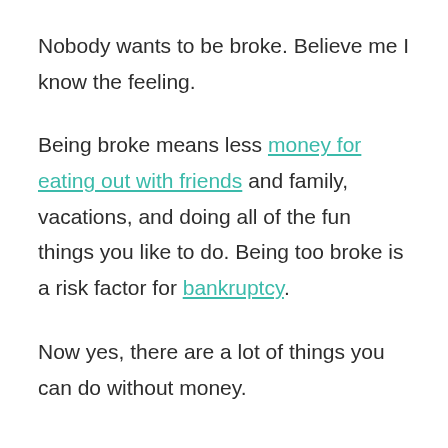Nobody wants to be broke. Believe me I know the feeling.
Being broke means less money for eating out with friends and family, vacations, and doing all of the fun things you like to do. Being too broke is a risk factor for bankruptcy.
Now yes, there are a lot of things you can do without money.